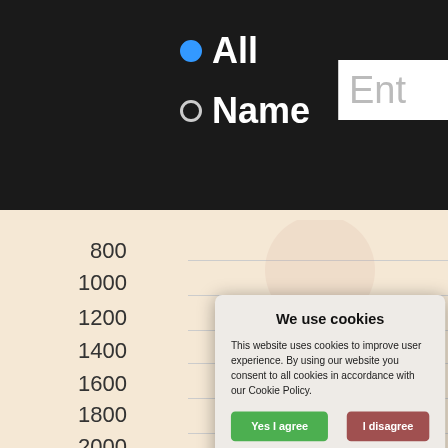[Figure (screenshot): Dark navigation bar with radio buttons 'All' (selected, blue filled circle) and 'Name' (unselected, grey circle), and a text input box partially visible on the right showing 'En']
[Figure (continuous-plot): Background scatter/line chart with y-axis labels 800, 1000, 1200, 1400, 1600, 1800, 2000 on a cream/tan background, partially visible person silhouette in background]
We use cookies
This website uses cookies to improve user experience. By using our website you consent to all cookies in accordance with our Cookie Policy.
Yes I agree    I disagree
Read more
Free cookie consent by cookie-script.com